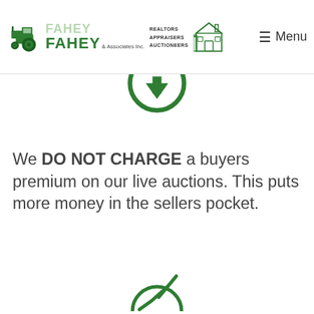FAHEY FAHEY & Associates Inc. — REALTORS APPRAISERS AUCTIONEERS — Menu
[Figure (illustration): Green circular arrow pointing downward, partially visible at top of content area]
We DO NOT CHARGE a buyers premium on our live auctions. This puts more money in the sellers pocket.
[Figure (illustration): Green circular checkmark icon, partially visible at bottom of page]